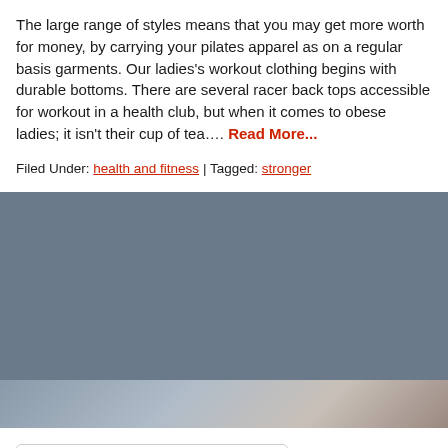The large range of styles means that you may get more worth for money, by carrying your pilates apparel as on a regular basis garments. Our ladies's workout clothing begins with durable bottoms. There are several racer back tops accessible for workout in a health club, but when it comes to obese ladies; it isn't their cup of tea…. Read More...
Filed Under: health and fitness | Tagged: stronger
Search …
ABOUT US
Contact Us
Advertise Here
Disclosure Policy
Sitemap
RECENT POSTS
Why Use Grip Socks?